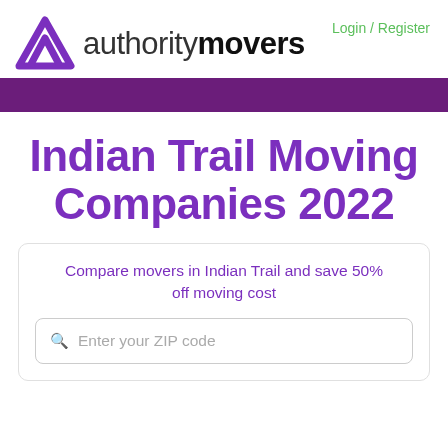[Figure (logo): Authority Movers logo: purple AM monogram icon followed by 'authoritymovers' wordmark in dark and bold text]
Login / Register
Indian Trail Moving Companies 2022
Compare movers in Indian Trail and save 50% off moving cost
Enter your ZIP code